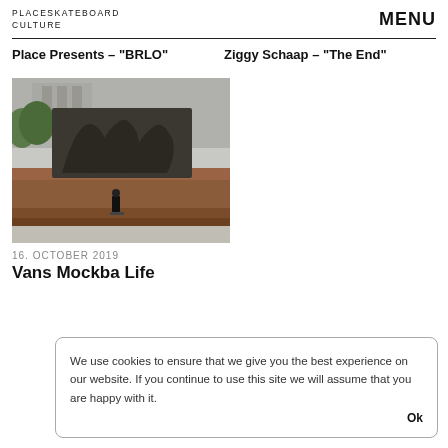PLACESKATEBOARD CULTURE  MENU
Place Presents – "BRLO"
Ziggy Schaap – "The End"
[Figure (photo): A skateboarder performing a trick on the steps of a large monument with bronze statues in Moscow]
16. OCTOBER 2019
Vans Mockba Life
We use cookies to ensure that we give you the best experience on our website. If you continue to use this site we will assume that you are happy with it.  Ok